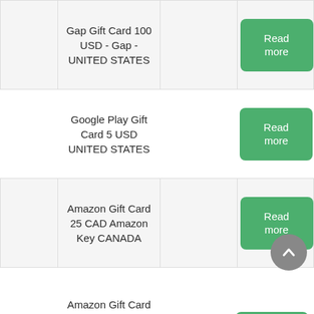|  | Product |  | Action |
| --- | --- | --- | --- |
|  | Gap Gift Card 100 USD - Gap - UNITED STATES |  | Read more |
|  | Google Play Gift Card 5 USD UNITED STATES |  | Read more |
|  | Amazon Gift Card 25 CAD Amazon Key CANADA |  | Read more |
|  | Amazon Gift Card 100 USD - |  | Read |